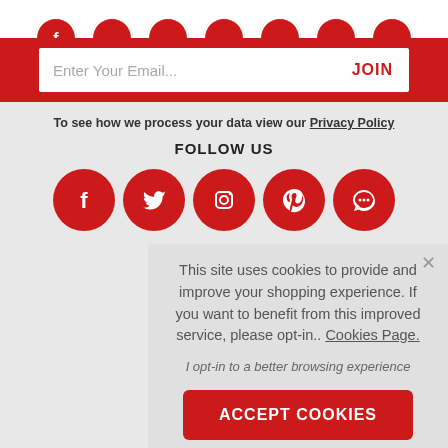[Figure (illustration): Partial red circular social media icon buttons visible at top of page]
Enter Your Email...
JOIN
To see how we process your data view our Privacy Policy
FOLLOW US
[Figure (illustration): Five red circular social media icons: Facebook, Twitter, Instagram, Pinterest, Chat/Messenger]
This site uses cookies to provide and improve your shopping experience. If you want to benefit from this improved service, please opt-in.. Cookies Page.
I opt-in to a better browsing experience
ACCEPT COOKIES